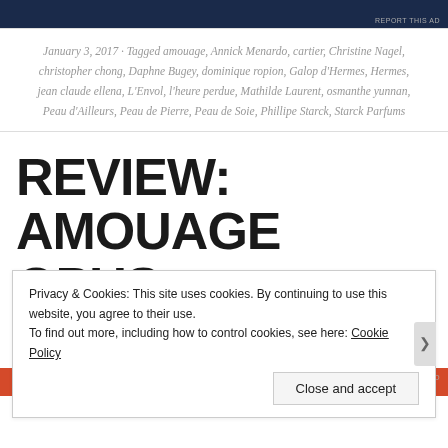[Figure (other): Top advertisement banner, dark navy blue background]
REPORT THIS AD
January 3, 2017 · Tagged amouage, Annick Menardo, cartier, Christine Nagel, christopher chong, Daphne Bugey, dominique ropion, Galop d'Hermes, Hermes, jean claude ellena, L'Envol, l'heure perdue, Mathilde Laurent, osmanthe yunnan, Peau d'Ailleurs, Peau de Pierre, Peau de Soie, Phillipe Starck, Starck Parfums
REVIEW: AMOUAGE OPUS X
Privacy & Cookies: This site uses cookies. By continuing to use this website, you agree to their use.
To find out more, including how to control cookies, see here: Cookie Policy
Close and accept